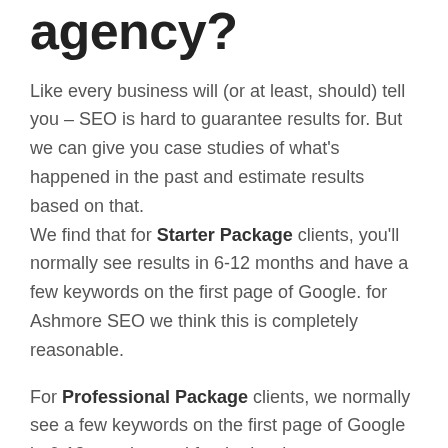agency?
Like every business will (or at least, should) tell you – SEO is hard to guarantee results for. But we can give you case studies of what's happened in the past and estimate results based on that.
We find that for Starter Package clients, you'll normally see results in 6-12 months and have a few keywords on the first page of Google. for Ashmore SEO we think this is completely reasonable.
For Professional Package clients, we normally see a few keywords on the first page of Google in 6-12 months, and for the harder more competitive keywords – we see them showing in early search results on the first page just over the 12 months